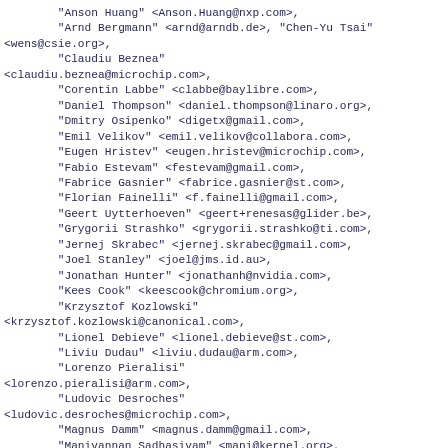"Anson Huang" <Anson.Huang@nxp.com>,
        "Arnd Bergmann" <arnd@arndb.de>, "Chen-Yu Tsai" <wens@csie.org>,
        "Claudiu Beznea" <claudiu.beznea@microchip.com>,
        "Corentin Labbe" <clabbe@baylibre.com>,
        "Daniel Thompson" <daniel.thompson@linaro.org>,
        "Dmitry Osipenko" <digetx@gmail.com>,
        "Emil Velikov" <emil.velikov@collabora.com>,
        "Eugen Hristev" <eugen.hristev@microchip.com>,
        "Fabio Estevam" <festevam@gmail.com>,
        "Fabrice Gasnier" <fabrice.gasnier@st.com>,
        "Florian Fainelli" <f.fainelli@gmail.com>,
        "Geert Uytterhoeven" <geert+renesas@glider.be>,
        "Grygorii Strashko" <grygorii.strashko@ti.com>,
        "Jernej Skrabec" <jernej.skrabec@gmail.com>,
        "Joel Stanley" <joel@jms.id.au>,
        "Jonathan Hunter" <jonathanh@nvidia.com>,
        "Kees Cook" <keescook@chromium.org>,
        "Krzysztof Kozlowski" <krzysztof.kozlowski@canonical.com>,
        "Lionel Debieve" <lionel.debieve@st.com>,
        "Liviu Dudau" <liviu.dudau@arm.com>,
        "Lorenzo Pieralisi" <lorenzo.pieralisi@arm.com>,
        "Ludovic Desroches" <ludovic.desroches@microchip.com>,
        "Magnus Damm" <magnus.damm@gmail.com>,
        "Manivannan Sadhasivam" <mani@kernel.org>,
        "Marek Szyprowski" <m.szyprowski@samsung.com>,